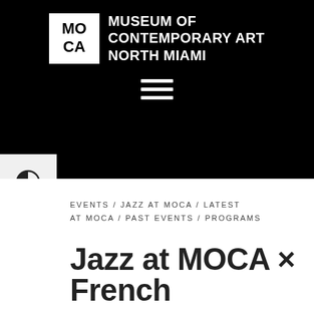[Figure (logo): Museum of Contemporary Art North Miami logo — MO/CA in black square with white text, followed by institution name in white bold uppercase text]
[Figure (other): Hamburger menu icon — three horizontal white lines]
[Figure (other): Accessibility sidebar with contrast toggle (half-circle icon) and text-size toggle (tT icon)]
EVENTS / JAZZ AT MOCA / LATEST AT MOCA / PAST EVENTS / PROGRAMS
Jazz at MOCA × French